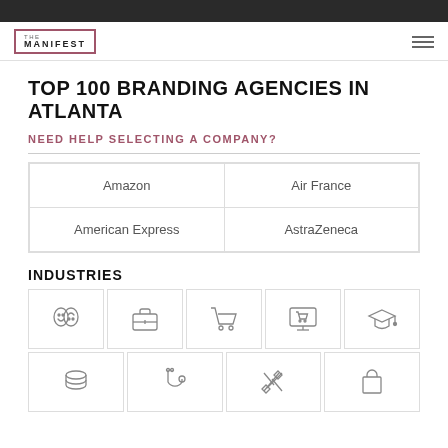THE MANIFEST
TOP 100 BRANDING AGENCIES IN ATLANTA
NEED HELP SELECTING A COMPANY?
| Amazon | Air France |
| American Express | AstraZeneca |
INDUSTRIES
[Figure (infographic): Industry icons: arts/theater masks, briefcase, shopping cart, e-commerce monitor, graduation cap, coins/finance, medical stethoscope, tools/engineering, shopping bag]